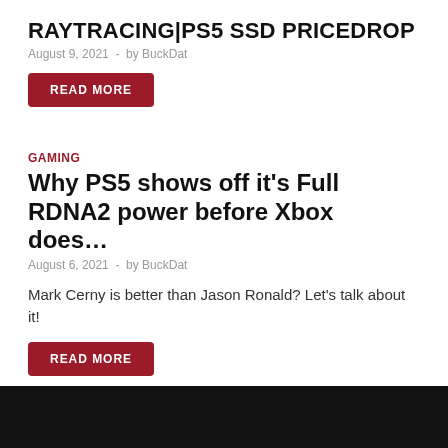RAYTRACING|PS5 SSD PRICEDROP
August 9, 2021 - by BuckDat
READ MORE
GAMING
Why PS5 shows off it's Full RDNA2 power before Xbox does…
August 6, 2021 - by BuckDat
Mark Cerny is better than Jason Ronald? Let's talk about it!
READ MORE
[Figure (photo): Dark image strip at the bottom of the page, partially visible black/dark scene]